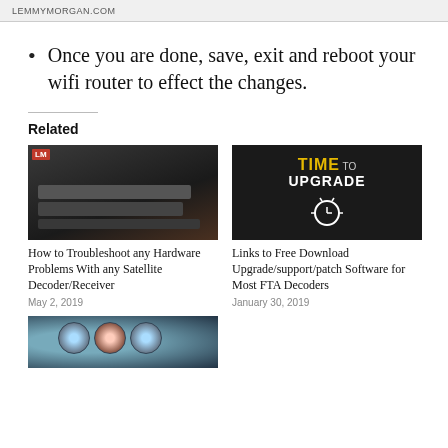LEMMYMORGAN.COM
Once you are done, save, exit and reboot your wifi router to effect the changes.
Related
[Figure (photo): Photo of stacked satellite decoder/receiver hardware devices]
How to Troubleshoot any Hardware Problems With any Satellite Decoder/Receiver
May 2, 2019
[Figure (photo): Chalkboard-style image with text TIME to UPGRADE and a clock illustration]
Links to Free Download Upgrade/support/patch Software for Most FTA Decoders
January 30, 2019
[Figure (photo): Partial image showing DVDs or discs with colorful bubble-like appearance]